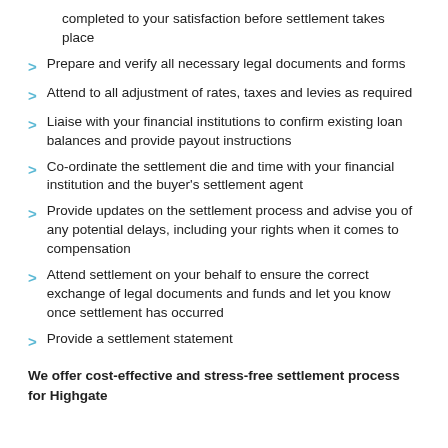completed to your satisfaction before settlement takes place
Prepare and verify all necessary legal documents and forms
Attend to all adjustment of rates, taxes and levies as required
Liaise with your financial institutions to confirm existing loan balances and provide payout instructions
Co-ordinate the settlement die and time with your financial institution and the buyer's settlement agent
Provide updates on the settlement process and advise you of any potential delays, including your rights when it comes to compensation
Attend settlement on your behalf to ensure the correct exchange of legal documents and funds and let you know once settlement has occurred
Provide a settlement statement
We offer cost-effective and stress-free settlement process for Highgate